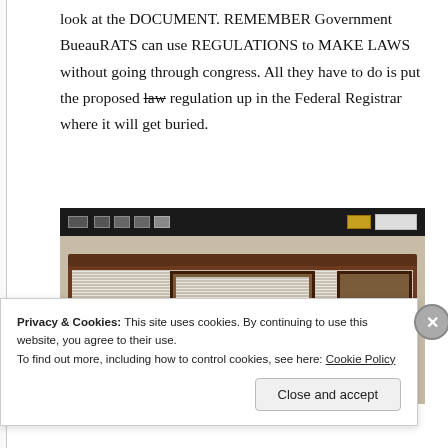look at the DOCUMENT. REMEMBER Government BueauRATS can use REGULATIONS to MAKE LAWS without going through congress. All they have to do is put the proposed law regulation up in the Federal Registrar where it will get buried.
[Figure (photo): Photograph of a large dark wooden filing cabinet with white horizontal blinds behind glass doors, and electronic equipment on top]
Privacy & Cookies: This site uses cookies. By continuing to use this website, you agree to their use.
To find out more, including how to control cookies, see here: Cookie Policy
Close and accept